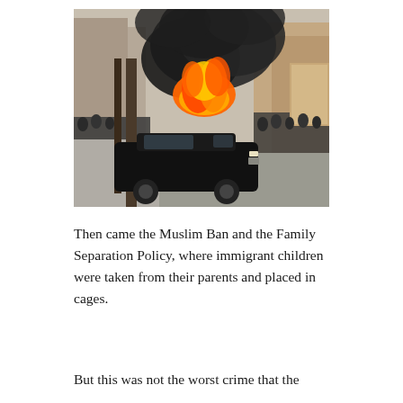[Figure (photo): Street scene showing a black luxury limousine in the foreground on a city street, with a large vehicle engulfed in flames and billowing black smoke behind it. Crowds of people line both sides of the street. Bare trees and city buildings are visible in the background.]
Then came the Muslim Ban and the Family Separation Policy, where immigrant children were taken from their parents and placed in cages.
But this was not the worst crime that the